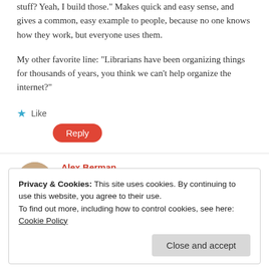stuff? Yeah, I build those." Makes quick and easy sense, and gives a common, easy example to people, because no one knows how they work, but everyone uses them.
My other favorite line: “Librarians have been organizing things for thousands of years, you think we can’t help organize the internet?”
★ Like
Reply
Alex Berman
November 10, 2012 at 1:11 pm
Privacy & Cookies: This site uses cookies. By continuing to use this website, you agree to their use.
To find out more, including how to control cookies, see here:
Cookie Policy
Close and accept